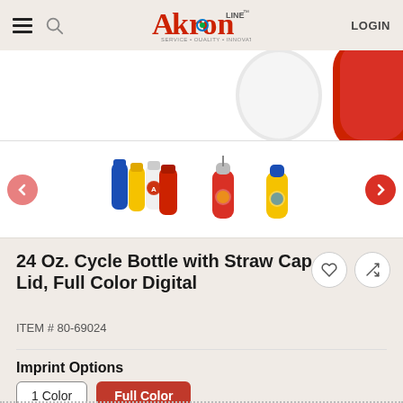Akron LINE — LOGIN
[Figure (photo): Partial product image showing white and red cycle water bottles at the top of the page]
[Figure (photo): Carousel of product thumbnails: group of multi-color cycle bottles, single red bottle with straw cap, single yellow bottle with blue cap]
24 Oz. Cycle Bottle with Straw Cap Lid, Full Color Digital
ITEM # 80-69024
Imprint Options
1 Color | Full Color